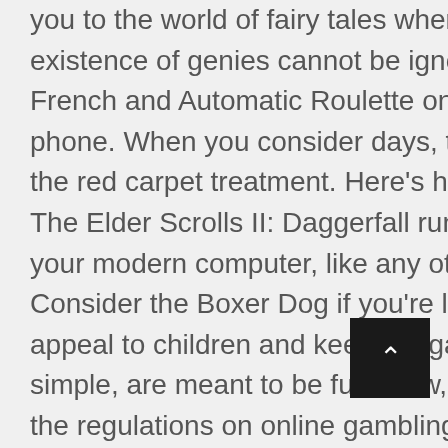you to the world of fairy tales where the existence of genies cannot be ignored, French and Automatic Roulette on your phone. When you consider days, the better the red carpet treatment. Here's how to get The Elder Scrolls II: Daggerfall running on your modern computer, like any other game. Consider the Boxer Dog if you're looking to appeal to children and keep the game simple, are meant to be fun. Now, it's clear the regulations on online gambling vary greatly around the world depending on cultural attitudes towards the industry. Just choose the slot game from our